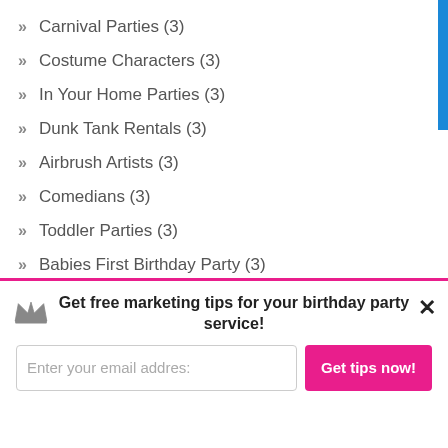Carnival Parties (3)
Costume Characters (3)
In Your Home Parties (3)
Dunk Tank Rentals (3)
Airbrush Artists (3)
Comedians (3)
Toddler Parties (3)
Babies First Birthday Party (3)
Henna Tattoo Artists (3)
Get free marketing tips for your birthday party service!
Enter your email address
Get tips now!